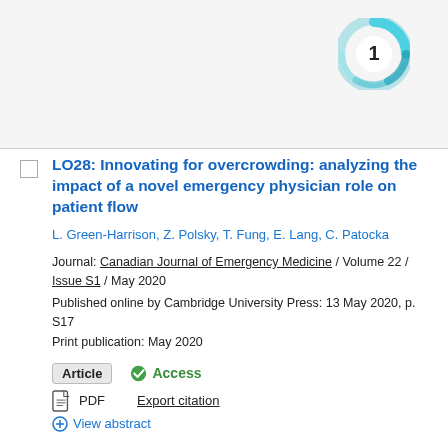[Figure (logo): Cambridge University Press circular logo with the number 1 in center, teal/blue swirl design]
LO28: Innovating for overcrowding: analyzing the impact of a novel emergency physician role on patient flow
L. Green-Harrison, Z. Polsky, T. Fung, E. Lang, C. Patocka
Journal: Canadian Journal of Emergency Medicine / Volume 22 / Issue S1 / May 2020
Published online by Cambridge University Press: 13 May 2020, p. S17
Print publication: May 2020
Article   Access
PDF   Export citation
+ View abstract